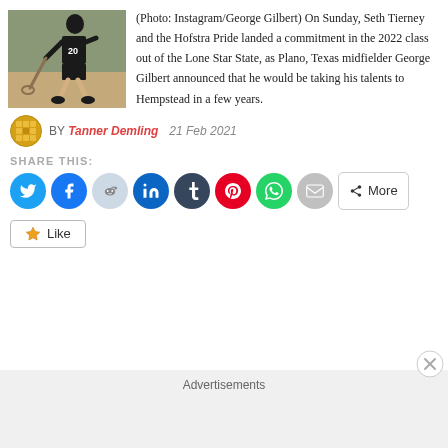[Figure (photo): A lacrosse player wearing jersey number 20 in a playing stance on a dirt/grass field]
(Photo: Instagram/George Gilbert) On Sunday, Seth Tierney and the Hofstra Pride landed a commitment in the 2022 class out of the Lone Star State, as Plano, Texas midfielder George Gilbert announced that he would be taking his talents to Hempstead in a few years.
BY Tanner Demling   21 Feb 2021
SHARE THIS:
[Figure (infographic): Social share buttons row: Twitter, Facebook, Reddit, LinkedIn, Tumblr, Pinterest, WhatsApp, Email, More]
Like
Advertisements